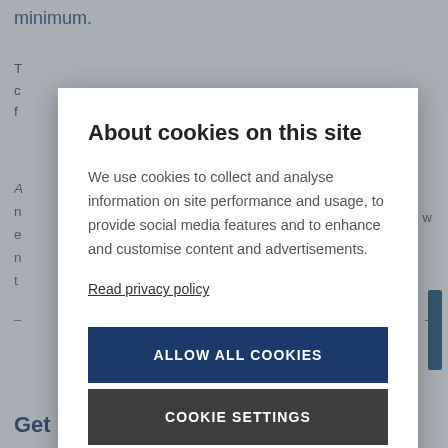minimum.
T... c... f...
A... n... e... n... t...
About cookies on this site
We use cookies to collect and analyse information on site performance and usage, to provide social media features and to enhance and customise content and advertisements.
Read privacy policy
ALLOW ALL COOKIES
COOKIE SETTINGS
Get in touch